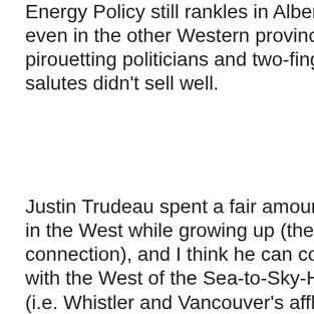Energy Policy still rankles in Alberta, but even in the other Western provinces pirouetting politicians and two-fingered salutes didn't sell well.
Justin Trudeau spent a fair amount of time in the West while growing up (the Sinclair connection), and I think he can connect with the West of the Sea-to-Sky-Highway (i.e. Whistler and Vancouver's affluent North Shore suburbs, which is where the Sinclair family is from). He can probably connect with the West of Nelson and Tofino too. But can he manage Surrey? Burnaby? Saskatoon?